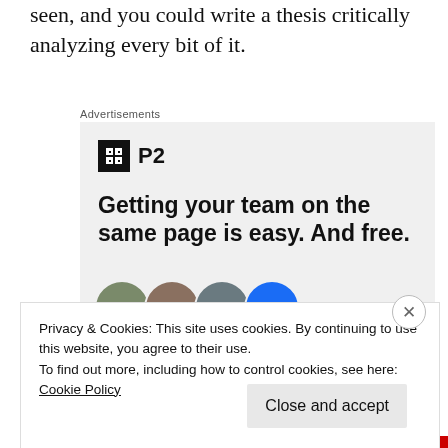seen, and you could write a thesis critically analyzing every bit of it.
[Figure (other): Advertisement banner for P2 product. Shows P2 logo with icon, headline text 'Getting your team on the same page is easy. And free.' and circular avatar photos of team members.]
Privacy & Cookies: This site uses cookies. By continuing to use this website, you agree to their use.
To find out more, including how to control cookies, see here:
Cookie Policy